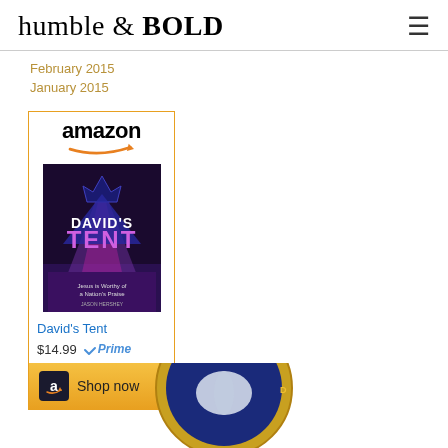humble & BOLD
February 2015
January 2015
[Figure (other): Amazon advertisement widget for the book 'David's Tent' priced at $14.99 with Amazon Prime, featuring a Shop now button]
[Figure (other): Mom's Choice Award badge/seal - circular blue and gold emblem partially visible at bottom of page]